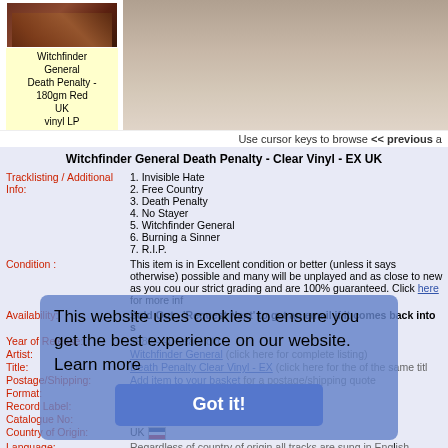[Figure (photo): Album cover thumbnail for Witchfinder General Death Penalty - 180gm Red UK vinyl LP]
Witchfinder General
Death Penalty -
180gm Red UK
vinyl LP
[Figure (photo): Large photo of Death Penalty album artwork showing figure on wooden boards]
Use cursor keys to browse << previous a
Witchfinder General Death Penalty - Clear Vinyl - EX UK
Tracklisting / Additional Info:
1. Invisible Hate
2. Free Country
3. Death Penalty
4. No Stayer
5. Witchfinder General
6. Burning a Sinner
7. R.I.P.
Condition : This item is in Excellent condition or better (unless it says otherwise) possible and many will be unplayed and as close to new as you cou our strict grading and are 100% guaranteed. Click here for more inf
Availability: Sold Out - 'Request Next' to get an email if it comes back into s
Year of Release: 1982 - 40 years old
Artist: Witchfinder General (click here for complete listing)
Title: Death Penalty Clear Vinyl - EX (click here for the of the same titl
Postage/Shipping: Add item to your basket for a postage/shipping quote
Format: LP
Record Label: Heavy Metal
Catalogue No: HMRLP8
Country of Origin: UK
Language: Regardless of country of origin all tracks are sung in English, unless
Additional info: Deleted
EIL.COM Ref No WCHLPDE785920 (quote this reference in any e-mails, letters, faxe
This website uses cookies to ensure you get the best experience on our website. Learn more
Got it!